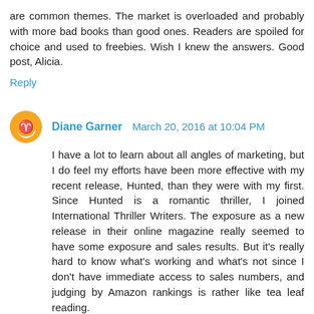are common themes. The market is overloaded and probably with more bad books than good ones. Readers are spoiled for choice and used to freebies. Wish I knew the answers. Good post, Alicia.
Reply
Diane Garner  March 20, 2016 at 10:04 PM
I have a lot to learn about all angles of marketing, but I do feel my efforts have been more effective with my recent release, Hunted, than they were with my first. Since Hunted is a romantic thriller, I joined International Thriller Writers. The exposure as a new release in their online magazine really seemed to have some exposure and sales results. But it's really hard to know what's working and what's not since I don't have immediate access to sales numbers, and judging by Amazon rankings is rather like tea leaf reading.
Reply
To leave a comment, click the button below to sign in with Google.